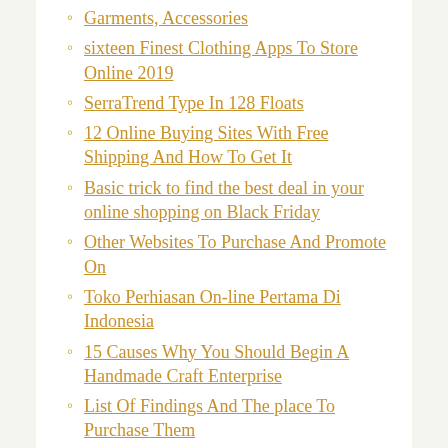Garments, Accessories
sixteen Finest Clothing Apps To Store Online 2019
Serra​Trend Type In 128 Floats
12 Online Buying Sites With Free Shipping And How To Get It
Basic trick to find the best deal in your online shopping on Black Friday
Other Websites To Purchase And Promote On
Toko Perhiasan On-line Pertama Di Indonesia
15 Causes Why You Should Begin A Handmade Craft Enterprise
List Of Findings And The place To Purchase Them
The Hippie, Bohemian, Free Spirit Guide To Getting A Job